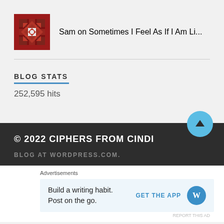Sam on Sometimes I Feel As If I Am Li...
BLOG STATS
252,595 hits
© 2022 CIPHERS FROM CINDI
BLOG AT WORDPRESS.COM.
Advertisements
Build a writing habit. Post on the go. GET THE APP